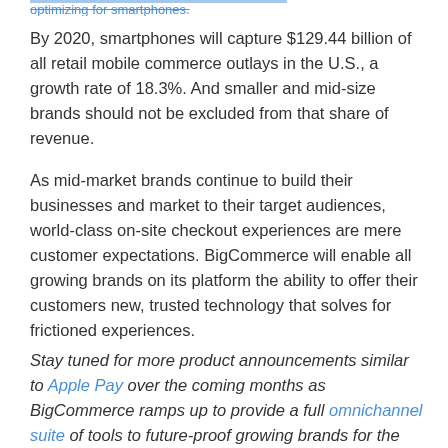optimizing for smartphones.
By 2020, smartphones will capture $129.44 billion of all retail mobile commerce outlays in the U.S., a growth rate of 18.3%. And smaller and mid-size brands should not be excluded from that share of revenue.
As mid-market brands continue to build their businesses and market to their target audiences, world-class on-site checkout experiences are mere customer expectations. BigCommerce will enable all growing brands on its platform the ability to offer their customers new, trusted technology that solves for frictioned experiences.
Stay tuned for more product announcements similar to Apple Pay over the coming months as BigCommerce ramps up to provide a full omnichannel suite of tools to future-proof growing brands for the next wave of online